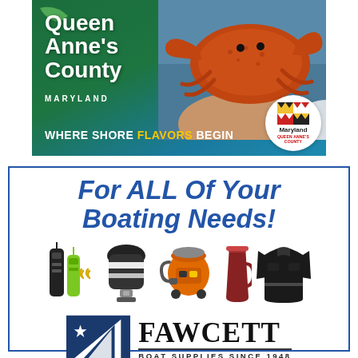[Figure (advertisement): Queen Anne's County Maryland tourism advertisement. Green gradient background with large orange crab image on right. Text reads: Queen Anne's County MARYLAND WHERE SHORE FLAVORS BEGIN. Maryland Queen Anne's County circular badge logo in bottom right.]
[Figure (advertisement): Fawcett Boat Supplies advertisement. Blue border rectangle. Large blue italic bold text: For ALL Of Your Boating Needs! Row of boating product images: EPIRB/PLB devices, life jacket, shop vacuum, tumbler, rain jacket. Fawcett logo with sail graphic and text: FAWCETT BOAT SUPPLIES SINCE 1948.]